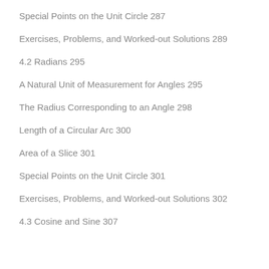Special Points on the Unit Circle 287
Exercises, Problems, and Worked-out Solutions 289
4.2 Radians 295
A Natural Unit of Measurement for Angles 295
The Radius Corresponding to an Angle 298
Length of a Circular Arc 300
Area of a Slice 301
Special Points on the Unit Circle 301
Exercises, Problems, and Worked-out Solutions 302
4.3 Cosine and Sine 307